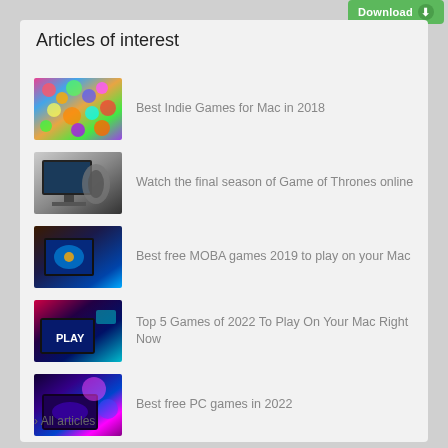[Figure (illustration): Green Download button with arrow icon in top-right corner]
Articles of interest
Best Indie Games for Mac in 2018
Watch the final season of Game of Thrones online
Best free MOBA games 2019 to play on your Mac
Top 5 Games of 2022 To Play On Your Mac Right Now
Best free PC games in 2022
› All articles